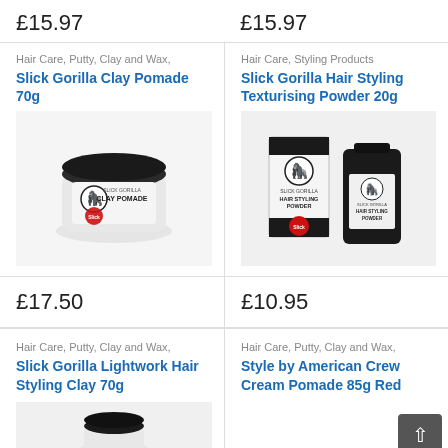£15.97
£15.97
Hair Care, Putty, Clay and Wax,
Slick Gorilla Clay Pomade 70g
[Figure (photo): Slick Gorilla Clay Pomade 70g product jar, white and black round tin]
Hair Care, Styling Products
Slick Gorilla Hair Styling Texturising Powder 20g
[Figure (photo): Slick Gorilla Hair Styling Powder 20g — box and bottle]
£17.50
£10.95
Hair Care, Putty, Clay and Wax,
Slick Gorilla Lightwork Hair Styling Clay 70g
Hair Care, Putty, Clay and Wax,
Style by American Crew Cream Pomade 85g Red